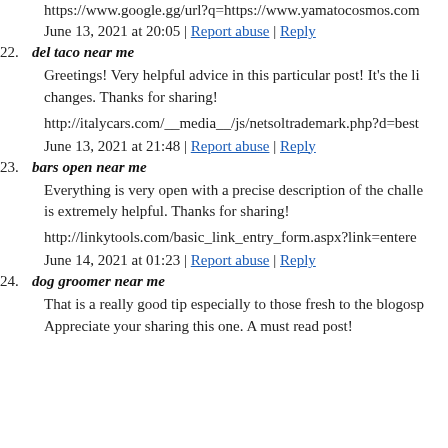https://www.yamatocosmos.com
Best view i have ever seen !
https://www.google.gg/url?q=https://www.yamatocosmos.com
June 13, 2021 at 20:05 | Report abuse | Reply
22. del taco near me
Greetings! Very helpful advice in this particular post! It's the little changes. Thanks for sharing!
http://italycars.com/__media__/js/netsoltrademark.php?d=best
June 13, 2021 at 21:48 | Report abuse | Reply
23. bars open near me
Everything is very open with a precise description of the challenges. is extremely helpful. Thanks for sharing!
http://linkytools.com/basic_link_entry_form.aspx?link=entere
June 14, 2021 at 01:23 | Report abuse | Reply
24. dog groomer near me
That is a really good tip especially to those fresh to the blogosphere. Appreciate your sharing this one. A must read post!